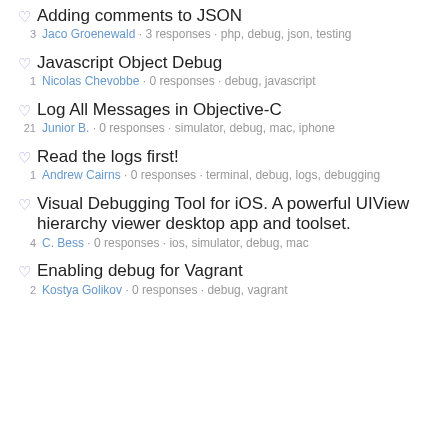Adding comments to JSON
3 · Jaco Groenewald · 3 responses · php, debug, json, testing
Javascript Object Debug
1 · Nicolas Chevobbe · 0 responses · debug, javascript
Log All Messages in Objective-C
21 · Junior B. · 0 responses · simulator, debug, mac, iphone
Read the logs first!
1 · Andrew Cairns · 0 responses · terminal, debug, logs, debugging
Visual Debugging Tool for iOS. A powerful UIView hierarchy viewer desktop app and toolset.
4 · C. Bess · 0 responses · ios, simulator, debug, mac
Enabling debug for Vagrant
2 · Kostya Golikov · 0 responses · debug, vagrant